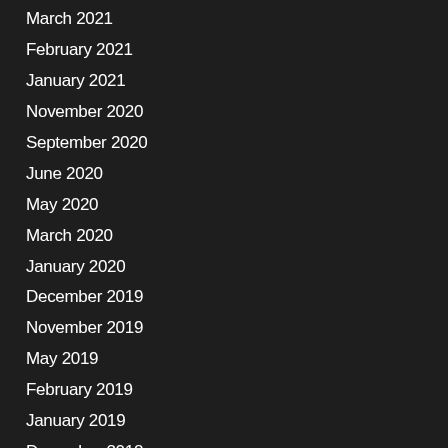March 2021
February 2021
January 2021
November 2020
September 2020
June 2020
May 2020
March 2020
January 2020
December 2019
November 2019
May 2019
February 2019
January 2019
December 2018
November 2018
April 2018
November 2017
October 2017